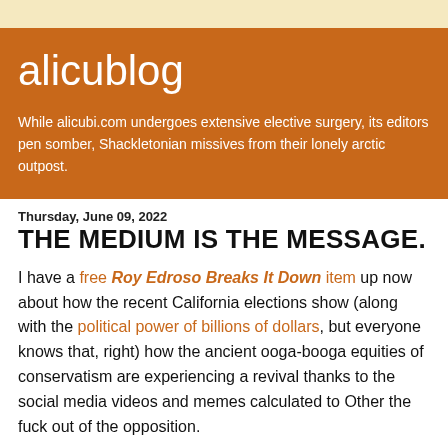alicublog
While alicubi.com undergoes extensive elective surgery, its editors pen somber, Shackletonian missives from their lonely arctic outpost.
Thursday, June 09, 2022
THE MEDIUM IS THE MESSAGE.
I have a free Roy Edroso Breaks It Down item up now about how the recent California elections show (along with the political power of billions of dollars, but everyone knows that, right) how the ancient ooga-booga equities of conservatism are experiencing a revival thanks to the social media videos and memes calculated to Other the fuck out of the opposition.